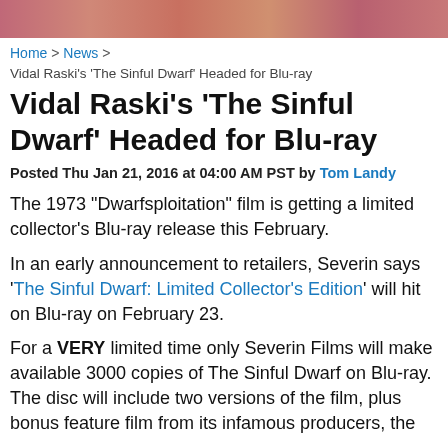[Figure (photo): Partial image banner at top of page showing colorful decorative background]
Home > News > Vidal Raski's 'The Sinful Dwarf' Headed for Blu-ray
Vidal Raski's 'The Sinful Dwarf' Headed for Blu-ray
Posted Thu Jan 21, 2016 at 04:00 AM PST by Tom Landy
The 1973 "Dwarfsploitation" film is getting a limited collector's Blu-ray release this February.
In an early announcement to retailers, Severin says 'The Sinful Dwarf: Limited Collector's Edition' will hit on Blu-ray on February 23.
For a VERY limited time only Severin Films will make available 3000 copies of The Sinful Dwarf on Blu-ray. The disc will include two versions of the film, plus bonus feature film from its infamous producers, the